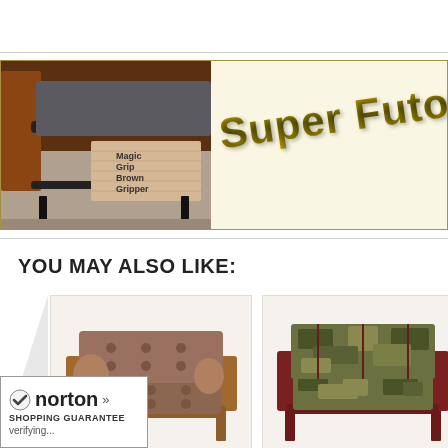[Figure (photo): Product banner showing a futon frame with 'Magic Grip Brown Gripper' label on left photo, and 'Super Futon Gri...' text on cream background on right]
YOU MAY ALSO LIKE:
[Figure (photo): Brown tufted fabric futon sofa with wooden frame]
[Figure (photo): Camouflage print futon sofa with dark wooden frame]
[Figure (photo): Partial futon sofa visible at right edge]
[Figure (logo): Norton Shopping Guarantee badge with checkmark, verifying...]